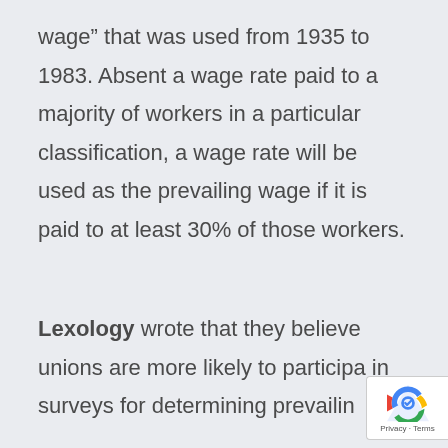wage” that was used from 1935 to 1983. Absent a wage rate paid to a majority of workers in a particular classification, a wage rate will be used as the prevailing wage if it is paid to at least 30% of those workers.
Lexology wrote that they believe unions are more likely to participate in surveys for determining prevailing...